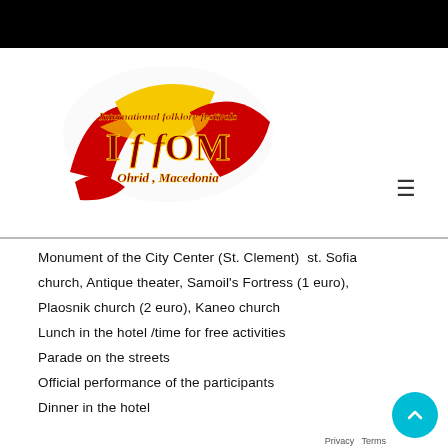[Figure (logo): IFFOM International Folklore Festivals logo with red and yellow colors, text 'International folklore festivals', 'IF FOM', 'Ohrid, Macedonia']
Monument of the City Center (St. Clement)  st. Sofia church, Antique theater, Samoil's Fortress (1 euro), Plaosnik church (2 euro), Kaneo church
Lunch in the hotel /time for free activities
Parade on the streets
Official performance of the participants
Dinner in the hotel